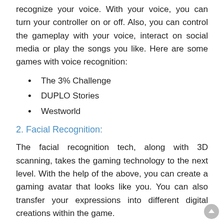recognize your voice. With your voice, you can turn your controller on or off. Also, you can control the gameplay with your voice, interact on social media or play the songs you like. Here are some games with voice recognition:
The 3% Challenge
DUPLO Stories
Westworld
2. Facial Recognition:
The facial recognition tech, along with 3D scanning, takes the gaming technology to the next level. With the help of the above, you can create a gaming avatar that looks like you. You can also transfer your expressions into different digital creations within the game.